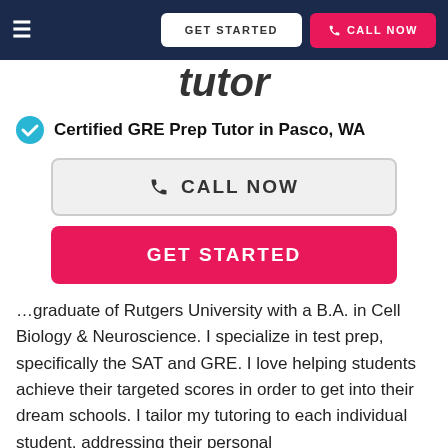GET STARTED | CALL NOW
…tutor
Certified GRE Prep Tutor in Pasco, WA
CALL NOW
GET STARTED
…graduate of Rutgers University with a B.A. in Cell Biology & Neuroscience. I specialize in test prep, specifically the SAT and GRE. I love helping students achieve their targeted scores in order to get into their dream schools. I tailor my tutoring to each individual student, addressing their personal strengths/weaknesses. I